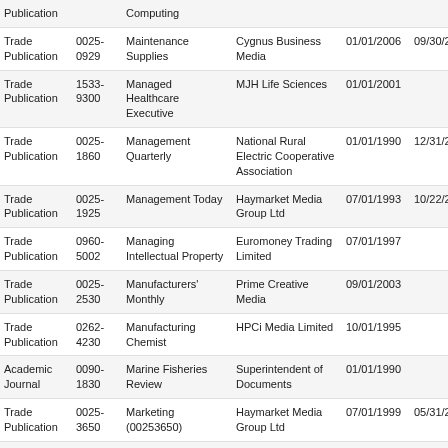| Type | ISSN | Title | Publisher | Start Date | End Date |
| --- | --- | --- | --- | --- | --- |
| Publication |  | Computing |  |  |  |
| Trade Publication | 0025-0929 | Maintenance Supplies | Cygnus Business Media | 01/01/2006 | 09/30/20 |
| Trade Publication | 1533-9300 | Managed Healthcare Executive | MJH Life Sciences | 01/01/2001 |  |
| Trade Publication | 0025-1860 | Management Quarterly | National Rural Electric Cooperative Association | 01/01/1990 | 12/31/20 |
| Trade Publication | 0025-1925 | Management Today | Haymarket Media Group Ltd | 07/01/1993 | 10/22/20 |
| Trade Publication | 0960-5002 | Managing Intellectual Property | Euromoney Trading Limited | 07/01/1997 |  |
| Trade Publication | 0025-2530 | Manufacturers' Monthly | Prime Creative Media | 09/01/2003 |  |
| Trade Publication | 0262-4230 | Manufacturing Chemist | HPCi Media Limited | 10/01/1995 |  |
| Academic Journal | 0090-1830 | Marine Fisheries Review | Superintendent of Documents | 01/01/1990 |  |
| Trade Publication | 0025-3650 | Marketing (00253650) | Haymarket Media Group Ltd | 07/01/1999 | 05/31/20 |
| Trade Publication | 1196-4650 | Marketing Magazine | Brunico Communications Inc. | 01/01/1994 | 12/31/20 |
| Trade | 0141- |  | Centaur |  |  |